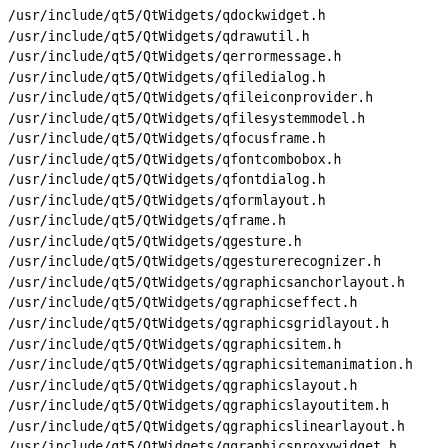/usr/include/qt5/QtWidgets/qdockwidget.h
/usr/include/qt5/QtWidgets/qdrawutil.h
/usr/include/qt5/QtWidgets/qerrormessage.h
/usr/include/qt5/QtWidgets/qfiledialog.h
/usr/include/qt5/QtWidgets/qfileiconprovider.h
/usr/include/qt5/QtWidgets/qfilesystemmodel.h
/usr/include/qt5/QtWidgets/qfocusframe.h
/usr/include/qt5/QtWidgets/qfontcombobox.h
/usr/include/qt5/QtWidgets/qfontdialog.h
/usr/include/qt5/QtWidgets/qformlayout.h
/usr/include/qt5/QtWidgets/qframe.h
/usr/include/qt5/QtWidgets/qgesture.h
/usr/include/qt5/QtWidgets/qgesturerecognizer.h
/usr/include/qt5/QtWidgets/qgraphicsanchorlayout.h
/usr/include/qt5/QtWidgets/qgraphicseffect.h
/usr/include/qt5/QtWidgets/qgraphicsgridlayout.h
/usr/include/qt5/QtWidgets/qgraphicsitem.h
/usr/include/qt5/QtWidgets/qgraphicsitemanimation.h
/usr/include/qt5/QtWidgets/qgraphicslayout.h
/usr/include/qt5/QtWidgets/qgraphicslayoutitem.h
/usr/include/qt5/QtWidgets/qgraphicslinearlayout.h
/usr/include/qt5/QtWidgets/qgraphicsproxywidget.h
/usr/include/qt5/QtWidgets/qgraphicsscene.h
/usr/include/qt5/QtWidgets/qgraphicssceneevent.h
/usr/include/qt5/QtWidgets/qgraphicstransform.h
/usr/include/qt5/QtWidgets/qgraphicsview.h
/usr/include/qt5/QtWidgets/qgraphicswidget.h
/usr/include/qt5/QtWidgets/qgridlayout.h
/usr/include/qt5/QtWidgets/qgroupbox.h
/usr/include/qt5/QtWidgets/qheaderview.h